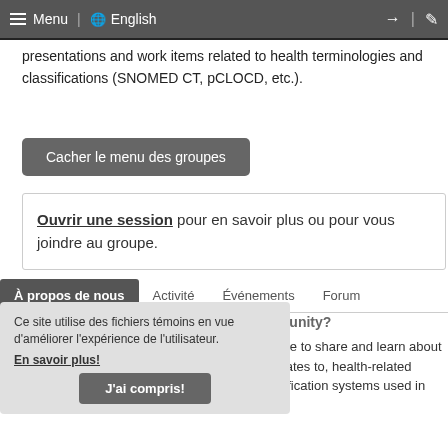Menu | English
presentations and work items related to health terminologies and classifications (SNOMED CT, pCLOCD, etc.).
Cacher le menu des groupes
Ouvrir une session pour en savoir plus ou pour vous joindre au groupe.
À propos de nous | Activité | Événements | Forum
Ce site utilise des fichiers témoins en vue d'améliorer l'expérience de l'utilisateur. En savoir plus!
J'ai compris!
What is the Health Terminologies Community?
The Health Terminologies Community is a place to share and learn about new and existing implementations of, and updates to, health-related terminologies, terminology subsets, and classification systems used in Canada.